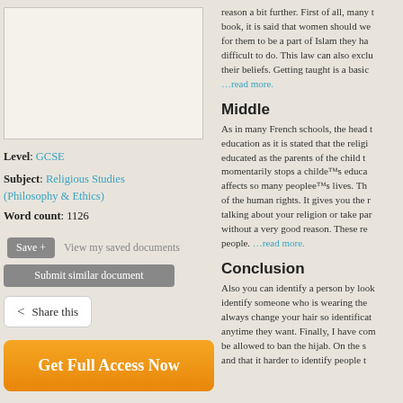[Figure (other): Preview box of document page thumbnail]
Level: GCSE
Subject: Religious Studies (Philosophy & Ethics)
Word count: 1126
Save + View my saved documents
Submit similar document
Share this
Get Full Access Now
reason a bit further. First of all, many t book, it is said that women should we for them to be a part of Islam they ha difficult to do. This law can also exclu their beliefs. Getting taught is a basic …read more.
Middle
As in many French schools, the head t education as it is stated that the religi educated as the parents of the child t momentarily stops a childâ€™s educa affects so many peopleâ€™s lives. Th of the human rights. It gives you the r talking about your religion or take par without a very good reason. These re people. …read more.
Conclusion
Also you can identify a person by look identify someone who is wearing the always change your hair so identificat anytime they want. Finally, I have com be allowed to ban the hijab. On the s and that it harder to identify people t